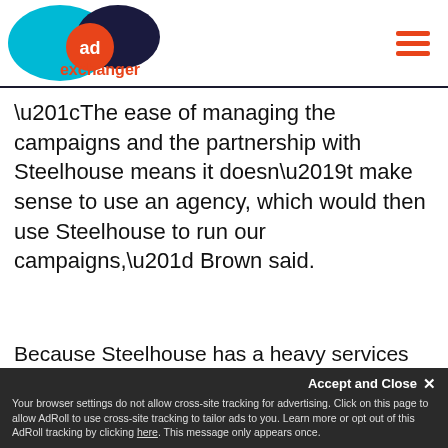AdExchanger
“The ease of managing the campaigns and the partnership with Steelhouse means it doesn’t make sense to use an agency, which would then use Steelhouse to run our campaigns,” Brown said.
Because Steelhouse has a heavy services component along with its ad stack, having an agency manage that relationship would result in a game of telephone.
Accept and Close × Your browser settings do not allow cross-site tracking for advertising. Click on this page to allow AdRoll to use cross-site tracking to tailor ads to you. Learn more or opt out of this AdRoll tracking by clicking here. This message only appears once.